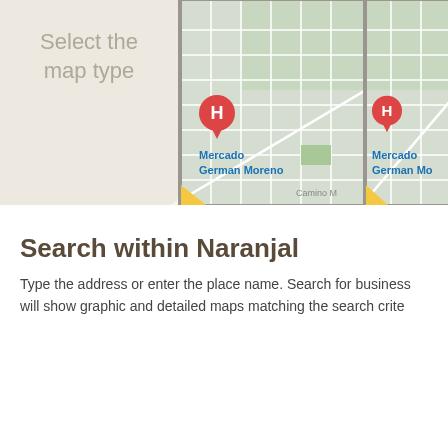Select the map type
[Figure (map): Map thumbnail showing street grid with red 'H' pin marker and blue label 'Mercado German Moreno', with 'Camino M...' text and yellow fold corner]
[Figure (map): Partial map thumbnail showing street grid with red 'H' pin marker and blue label 'Mercado German Mo...' (truncated), with yellow fold corner]
Search within Naranjal
Type the address or enter the place name. Search for business will show graphic and detailed maps matching the search crite...